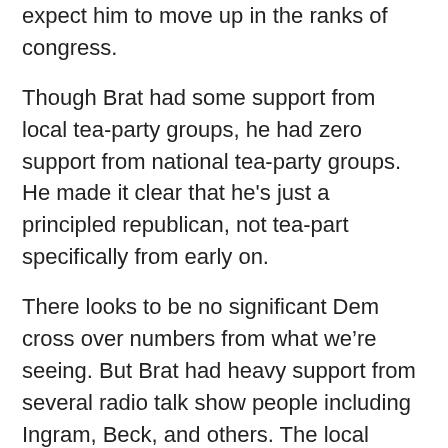expect him to move up in the ranks of congress.
Though Brat had some support from local tea-party groups, he had zero support from national tea-party groups. He made it clear that he's just a principled republican, not tea-part specifically from early on.
There looks to be no significant Dem cross over numbers from what we’re seeing. But Brat had heavy support from several radio talk show people including Ingram, Beck, and others. The local theories are that that heavy radio support, Cantor’s only negative campaign, and the last few days story of the the giant influx of kids across the border (6400 last year to so far 90,000 kids this year), and the generally low turn